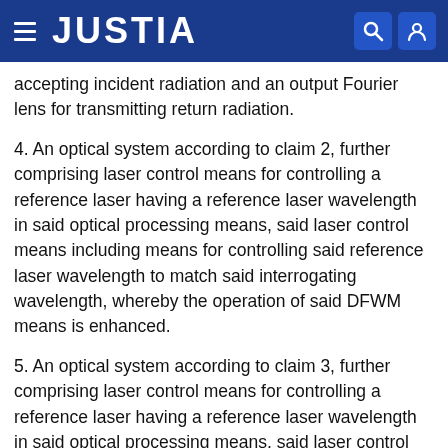JUSTIA
accepting incident radiation and an output Fourier lens for transmitting return radiation.
4. An optical system according to claim 2, further comprising laser control means for controlling a reference laser having a reference laser wavelength in said optical processing means, said laser control means including means for controlling said reference laser wavelength to match said interrogating wavelength, whereby the operation of said DFWM means is enhanced.
5. An optical system according to claim 3, further comprising laser control means for controlling a reference laser having a reference laser wavelength in said optical processing means, said laser control means including means for controlling said reference laser wavelength to match said interrogating wavelength